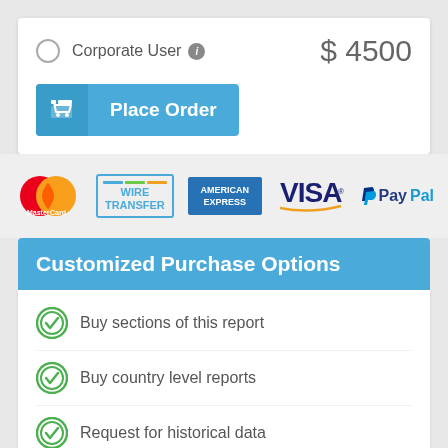Corporate User  $4500
Place Order
[Figure (infographic): Payment method logos: MasterCard, Wire Transfer, American Express, VISA, PayPal]
Customized Purchase Options
Buy sections of this report
Buy country level reports
Request for historical data
Discounts for Start-Ups & Universities